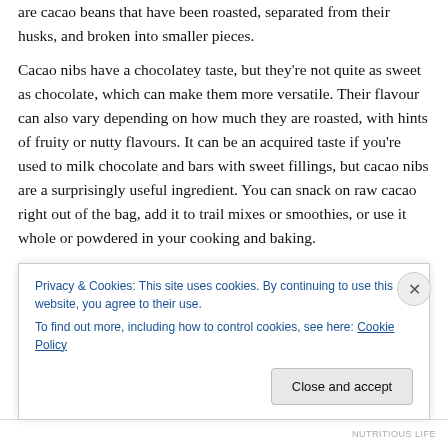are cacao beans that have been roasted, separated from their husks, and broken into smaller pieces.

Cacao nibs have a chocolatey taste, but they're not quite as sweet as chocolate, which can make them more versatile. Their flavour can also vary depending on how much they are roasted, with hints of fruity or nutty flavours. It can be an acquired taste if you're used to milk chocolate and bars with sweet fillings, but cacao nibs are a surprisingly useful ingredient. You can snack on raw cacao right out of the bag, add it to trail mixes or smoothies, or use it whole or powdered in your cooking and baking.
Privacy & Cookies: This site uses cookies. By continuing to use this website, you agree to their use.
To find out more, including how to control cookies, see here: Cookie Policy